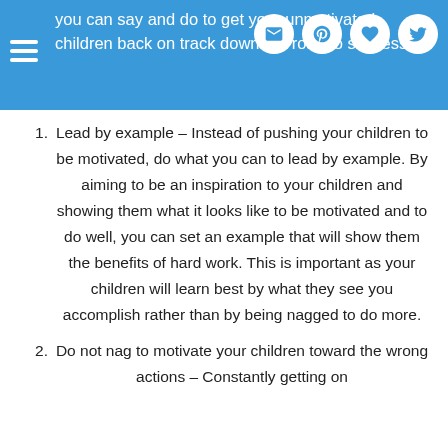you can say and do to get your unmotivated children back on track down the road to success.
Lead by example – Instead of pushing your children to be motivated, do what you can to lead by example. By aiming to be an inspiration to your children and showing them what it looks like to be motivated and to do well, you can set an example that will show them the benefits of hard work. This is important as your children will learn best by what they see you accomplish rather than by being nagged to do more.
Do not nag to motivate your children toward the wrong actions – Constantly getting on